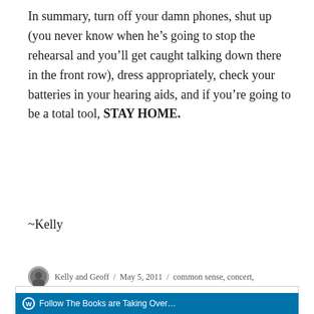In summary, turn off your damn phones, shut up (you never know when he's going to stop the rehearsal and you'll get caught talking down there in the front row), dress appropriately, check your batteries in your hearing aids, and if you're going to be a total tool, STAY HOME.
~Kelly
Kelly and Geoff / May 5, 2011 / common sense, concert,
Privacy & Cookies: This site uses cookies. By continuing to use this website, you agree to their use.
To find out more, including how to control cookies, see here: Cookie Policy
Follow The Books are Taking Over...